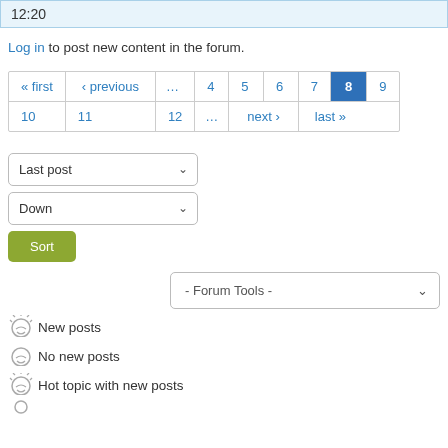12:20
Log in to post new content in the forum.
« first ‹ previous … 4 5 6 7 8 9 10 11 12 … next › last »
Last post (dropdown)
Down (dropdown)
Sort (button)
- Forum Tools -
New posts
No new posts
Hot topic with new posts